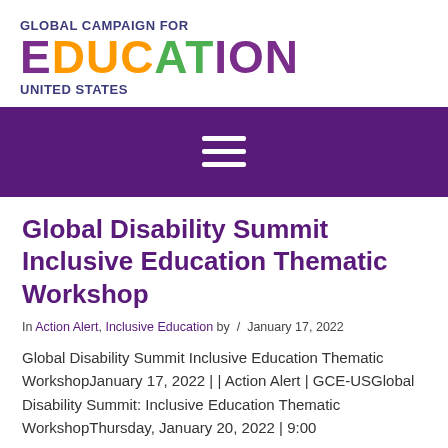[Figure (logo): Global Campaign for Education United States logo with colorful lettering]
[Figure (other): Purple navigation banner with hamburger menu icon (three horizontal white lines)]
Global Disability Summit Inclusive Education Thematic Workshop
In Action Alert, Inclusive Education by  /  January 17, 2022
Global Disability Summit Inclusive Education Thematic WorkshopJanuary 17, 2022 | | Action Alert | GCE-USGlobal Disability Summit: Inclusive Education Thematic WorkshopThursday, January 20, 2022 | 9:00